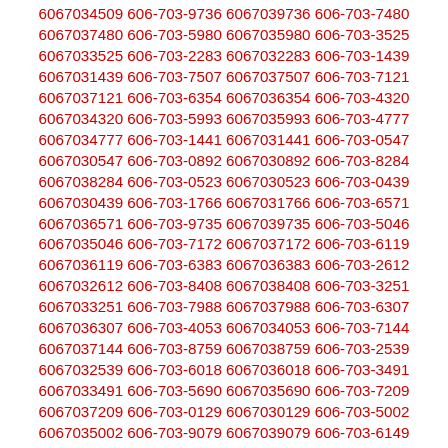6067039191 606-703-1307 6067031307 606-703-6710 6067036710 606-703-1378 6067031378 606-703-4509 6067034509 606-703-9736 6067039736 606-703-7480 6067037480 606-703-5980 6067035980 606-703-3525 6067033525 606-703-2283 6067032283 606-703-1439 6067031439 606-703-7507 6067037507 606-703-7121 6067037121 606-703-6354 6067036354 606-703-4320 6067034320 606-703-5993 6067035993 606-703-4777 6067034777 606-703-1441 6067031441 606-703-0547 6067030547 606-703-0892 6067030892 606-703-8284 6067038284 606-703-0523 6067030523 606-703-0439 6067030439 606-703-1766 6067031766 606-703-6571 6067036571 606-703-9735 6067039735 606-703-5046 6067035046 606-703-7172 6067037172 606-703-6119 6067036119 606-703-6383 6067036383 606-703-2612 6067032612 606-703-8408 6067038408 606-703-3251 6067033251 606-703-7988 6067037988 606-703-6307 6067036307 606-703-4053 6067034053 606-703-7144 6067037144 606-703-8759 6067038759 606-703-2539 6067032539 606-703-6018 6067036018 606-703-3491 6067033491 606-703-5690 6067035690 606-703-7209 6067037209 606-703-0129 6067030129 606-703-5002 6067035002 606-703-9079 6067039079 606-703-6149 6067036149 606-703-8390 6067038390 606-703-4911 6067034911 606-703-2236 6067032236 606-703-3906